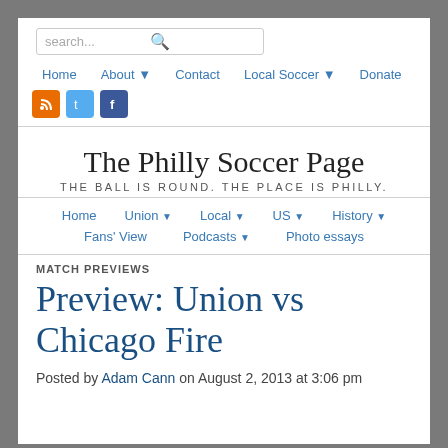search...
Home | About | Contact | Local Soccer | Donate
The Philly Soccer Page
THE BALL IS ROUND. THE PLACE IS PHILLY.
Home | Union | Local | US | History | Fans' View | Podcasts | Photo essays
MATCH PREVIEWS
Preview: Union vs Chicago Fire
Posted by Adam Cann on August 2, 2013 at 3:06 pm